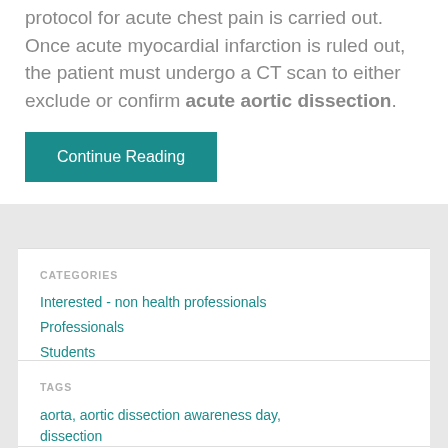protocol for acute chest pain is carried out. Once acute myocardial infarction is ruled out, the patient must undergo a CT scan to either exclude or confirm acute aortic dissection.
Continue Reading
CATEGORIES
Interested - non health professionals
Professionals
Students
TAGS
aorta, aortic dissection awareness day, dissection